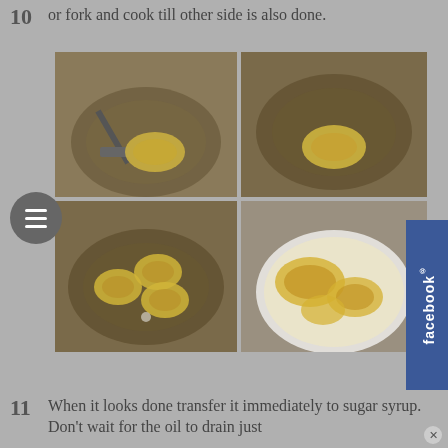10  When one side is done flip it gently using tongs or fork and cook till other side is also done.
[Figure (photo): Four cooking process photos showing jalebi frying in oil in a pan and finished jalebis on a plate]
11  When it looks done transfer it immediately to sugar syrup. Don't wait for the oil to drain just drop it immediately. Wait for it...